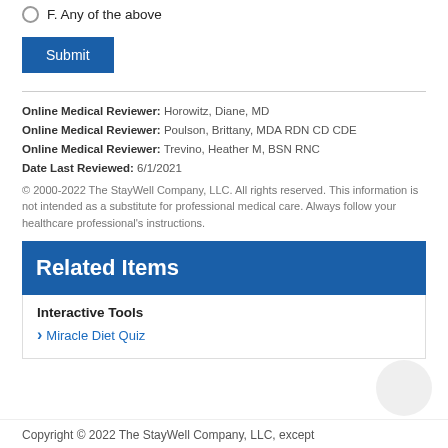F. Any of the above
Submit
Online Medical Reviewer: Horowitz, Diane, MD
Online Medical Reviewer: Poulson, Brittany, MDA RDN CD CDE
Online Medical Reviewer: Trevino, Heather M, BSN RNC
Date Last Reviewed: 6/1/2021
© 2000-2022 The StayWell Company, LLC. All rights reserved. This information is not intended as a substitute for professional medical care. Always follow your healthcare professional's instructions.
Related Items
Interactive Tools
Miracle Diet Quiz
Copyright © 2022 The StayWell Company, LLC, except